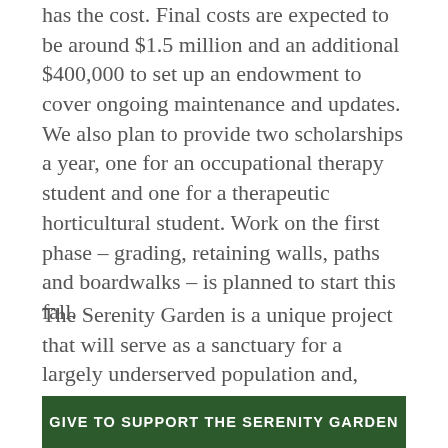has the cost. Final costs are expected to be around $1.5 million and an additional $400,000 to set up an endowment to cover ongoing maintenance and updates. We also plan to provide two scholarships a year, one for an occupational therapy student and one for a therapeutic horticultural student. Work on the first phase – grading, retaining walls, paths and boardwalks – is planned to start this fall.
The Serenity Garden is a unique project that will serve as a sanctuary for a largely underserved population and, hopefully, will become a template for all parks and public places nationwide. As such it deserves all our support.
GIVE TO SUPPORT THE SERENITY GARDEN